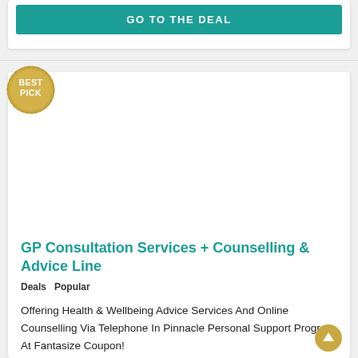GO TO THE DEAL
[Figure (illustration): Best Pick circular badge with gold/yellow background and white text]
GP Consultation Services + Counselling & Advice Line
Deals   Popular
Offering Health & Wellbeing Advice Services And Online Counselling Via Telephone In Pinnacle Personal Support Program At Fantasize Coupon!
Valid until September 30, 2021